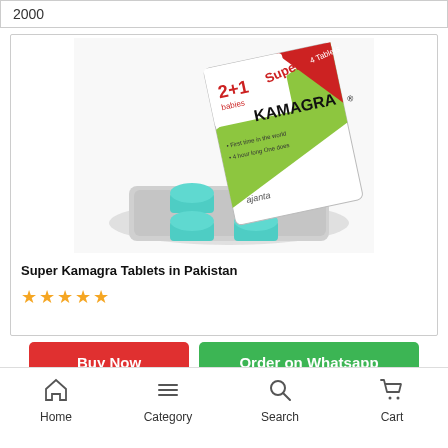2000
[Figure (photo): Super Kamagra tablet packaging box (white, green and red) with a blister pack of 4 teal/blue tablets in front]
Super Kamagra Tablets in Pakistan
★★★★★
Buy Now
Order on Whatsapp
Home   Category   Search   Cart